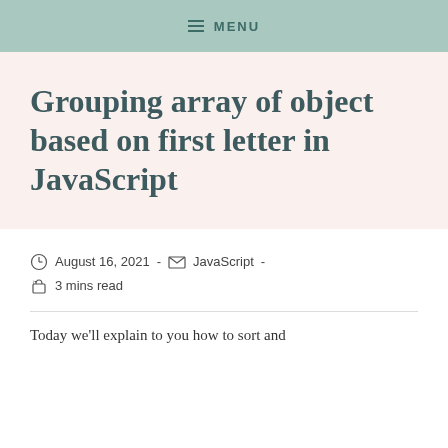≡ MENU
Grouping array of object based on first letter in JavaScript
August 16, 2021 - JavaScript - 3 mins read
Today we'll explain to you how to sort and